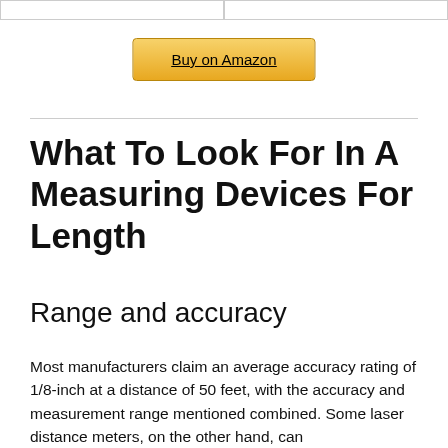|  |
Buy on Amazon
What To Look For In A Measuring Devices For Length
Range and accuracy
Most manufacturers claim an average accuracy rating of 1/8-inch at a distance of 50 feet, with the accuracy and measurement range mentioned combined. Some laser distance meters, on the other hand, can